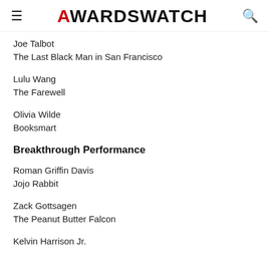AWARDSWATCH
Joe Talbot
The Last Black Man in San Francisco
Lulu Wang
The Farewell
Olivia Wilde
Booksmart
Breakthrough Performance
Roman Griffin Davis
Jojo Rabbit
Zack Gottsagen
The Peanut Butter Falcon
Kelvin Harrison Jr.